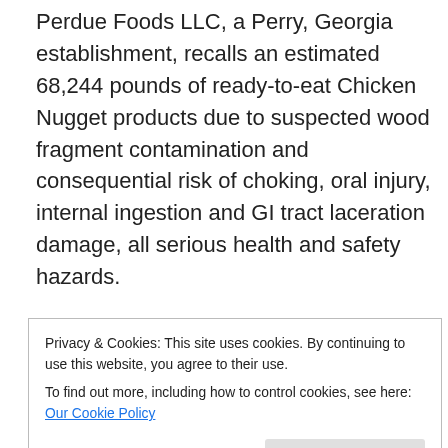Perdue Foods LLC, a Perry, Georgia establishment, recalls an estimated 68,244 pounds of ready-to-eat Chicken Nugget products due to suspected wood fragment contamination and consequential risk of choking, oral injury, internal ingestion and GI tract laceration damage, all serious health and safety hazards.
USDA: http://ht.ly/zU1Z30nCGSM
Direct link:
https://www.fsis.usda.gov/wps/portal/fsis/topics/recalls-and-public-health-alerts/recall-case
Privacy & Cookies: This site uses cookies. By continuing to use this website, you agree to their use.
To find out more, including how to control cookies, see here: Our Cookie Policy